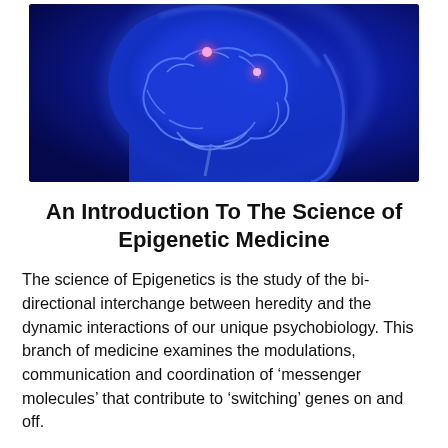[Figure (photo): Medical illustration of a translucent human head in profile (blue tones) showing a glowing brain with highlighted neural regions in pink/magenta, suggesting brain activity. The background is dark blue.]
An Introduction To The Science of Epigenetic Medicine
The science of Epigenetics is the study of the bi-directional interchange between heredity and the dynamic interactions of our unique psychobiology. This branch of medicine examines the modulations, communication and coordination of ‘messenger molecules’ that contribute to ‘switching’ genes on and off.